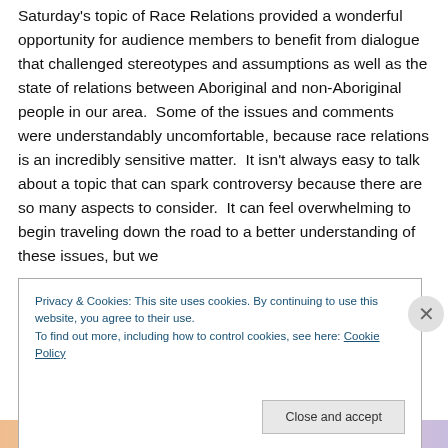Saturday's topic of Race Relations provided a wonderful opportunity for audience members to benefit from dialogue that challenged stereotypes and assumptions as well as the state of relations between Aboriginal and non-Aboriginal people in our area.  Some of the issues and comments were understandably uncomfortable, because race relations is an incredibly sensitive matter.  It isn't always easy to talk about a topic that can spark controversy because there are so many aspects to consider.  It can feel overwhelming to begin traveling down the road to a better understanding of these issues, but we
Privacy & Cookies: This site uses cookies. By continuing to use this website, you agree to their use.
To find out more, including how to control cookies, see here: Cookie Policy
Close and accept